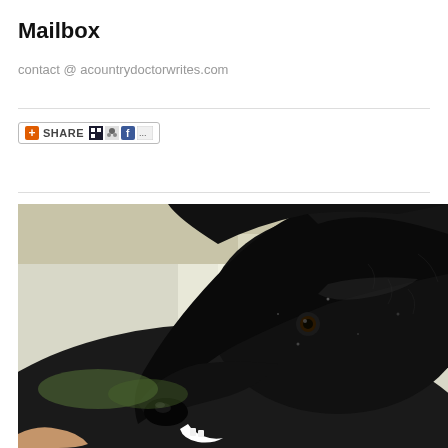Mailbox
contact @ acountrydoctorwrites.com
[Figure (other): Share button widget with orange plus icon, SHARE text, and social media icons (del.icio.us, StumbleUpon, Facebook, and more)]
[Figure (photo): Close-up side profile photo of a large black dog (appears to be a Newfoundland) looking upward, with light coming from a window in the background and a person's hand visible at the bottom left.]